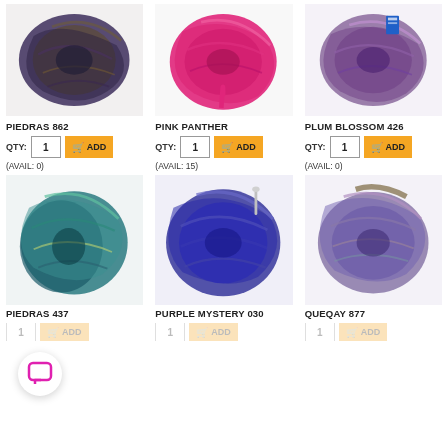[Figure (photo): Skein of yarn in dark multicolor (purple, brown, gold) - Piedras 862]
PIEDRAS 862
QTY: 1  ADD  (AVAIL: 0)
[Figure (photo): Skein of yarn in bright pink/magenta - Pink Panther]
PINK PANTHER
QTY: 1  ADD  (AVAIL: 15)
[Figure (photo): Skein of yarn in purple/mauve - Plum Blossom 426]
PLUM BLOSSOM 426
QTY: 1  ADD  (AVAIL: 0)
[Figure (photo): Skein of yarn in teal/blue-green - Piedras 437]
PIEDRAS 437
[Figure (photo): Skein of yarn in purple/indigo - Purple Mystery 030]
PURPLE MYSTERY 030
[Figure (photo): Skein of yarn in multicolor purple/grey - Queqay 877]
QUEQAY 877